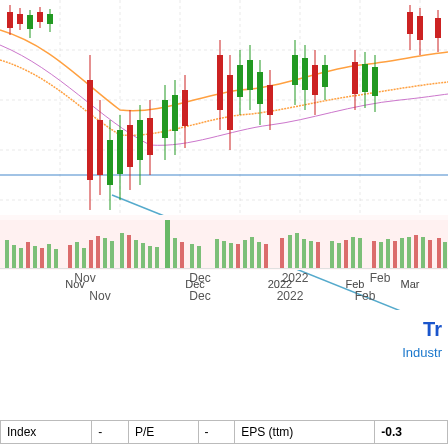[Figure (continuous-plot): Candlestick stock price chart from November 2021 to May 2022, showing red and green candlesticks with moving average lines (orange, purple), a horizontal blue support line, a descending blue trendline from December low, and a volume histogram at the bottom with green/red bars. X-axis labels: Nov, Dec, 2022, Feb, Mar, Apr, May.]
Tr
Industr
| Index | - | P/E | - | EPS (ttm) | -0.3 |
| --- | --- | --- | --- | --- | --- |